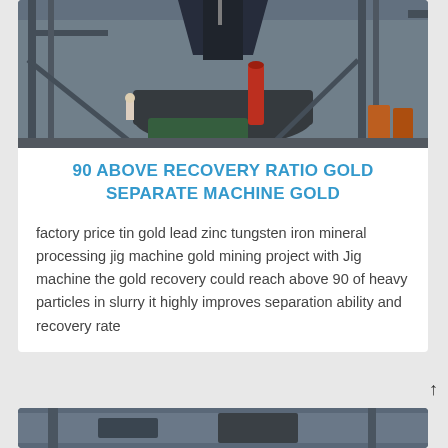[Figure (photo): Industrial mining/processing facility with large machinery, metal framework structures, and heavy equipment in a factory setting.]
90 ABOVE RECOVERY RATIO GOLD SEPARATE MACHINE GOLD
factory price tin gold lead zinc tungsten iron mineral processing jig machine gold mining project with Jig machine the gold recovery could reach above 90 of heavy particles in slurry it highly improves separation ability and recovery rate
[Figure (photo): Another industrial machinery photo partially visible at the bottom of the page.]